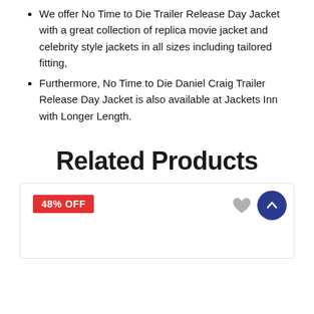We offer No Time to Die Trailer Release Day Jacket with a great collection of replica movie jacket and celebrity style jackets in all sizes including tailored fitting,
Furthermore, No Time to Die Daniel Craig Trailer Release Day Jacket is also available at Jackets Inn with Longer Length.
Related Products
[Figure (other): Product card showing 48% OFF badge in red, a grey heart wishlist icon, and a dark blue circular scroll-to-top button with upward arrow.]